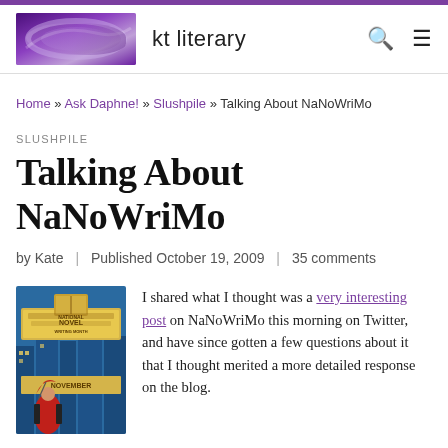kt literary
Home » Ask Daphne! » Slushpile » Talking About NaNoWriMo
SLUSHPILE
Talking About NaNoWriMo
by Kate | Published October 19, 2009 | 35 comments
[Figure (illustration): National Novel Writing Month (NaNoWriMo) book cover illustration with a figure in red coat, blue city background, and banner reading 'National Novel Writing Month November']
I shared what I thought was a very interesting post on NaNoWriMo this morning on Twitter, and have since gotten a few questions about it that I thought merited a more detailed response on the blog.